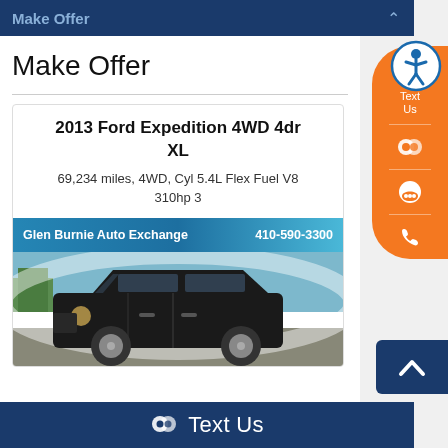Make Offer
Make Offer
2013 Ford Expedition 4WD 4dr XL
69,234 miles, 4WD, Cyl 5.4L Flex Fuel V8 310hp 3
[Figure (photo): Black 2013 Ford Expedition SUV parked, shown from a slight front-left angle. Dealer banner reads: Glen Burnie Auto Exchange 410-590-3300]
Text Us
Text Us